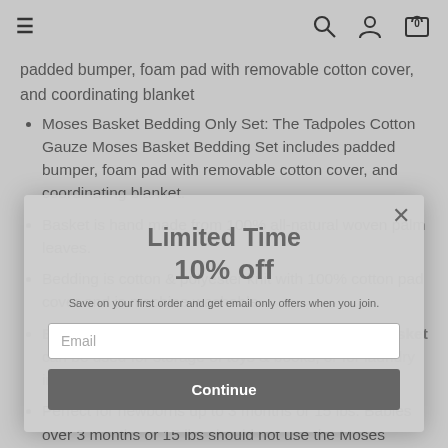≡  🔍  🧑  🛍 0
padded bumper, foam pad with removable cotton cover, and coordinating blanket
Moses Basket Bedding Only Set: The Tadpoles Cotton Gauze Moses Basket Bedding Set includes padded bumper, foam pad with removable cotton cover, and coordinating blanket.
Basket is hand made from 100% all-natural woven palm leaves.
Bedding is cotton & polyester knit with 100% cotton pad cover and is machine washable.
Bedding can be removed as babies grow and basket can be used for storage of toys & books, or for laundry in the nursery.
Perfect for newborns up to 3 months or 15 lbs. Babies over 3 months or 15 lbs should not use the Moses Basket.
Bedding is made in the USA.
[Figure (screenshot): Modal popup overlay with 'Limited Time 10% off' promotional offer, email input field, and Continue button]
Limited Time
10% off
Save on your first order and get email only offers when you join.
Email
Continue